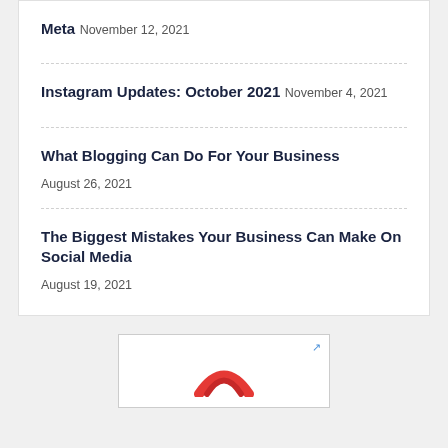Meta
November 12, 2021
Instagram Updates: October 2021
November 4, 2021
What Blogging Can Do For Your Business
August 26, 2021
The Biggest Mistakes Your Business Can Make On Social Media
August 19, 2021
[Figure (logo): Advertisement box with a red logo or graphic partially visible at bottom]